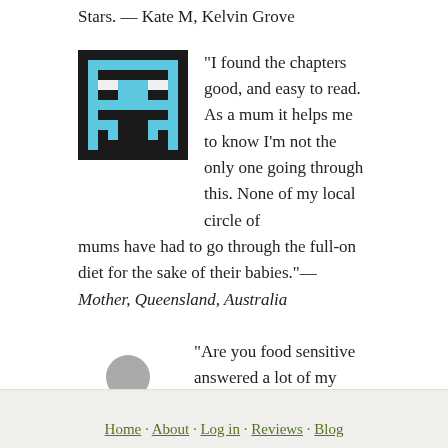Stars. — Kate M, Kelvin Grove
“I found the chapters good, and easy to read. As a mum it helps me to know I’m not the only one going through this. None of my local circle of mums have had to go through the full-on diet for the sake of their babies.”— Mother, Queensland, Australia
“Are you food sensitive answered a lot of my questions. It gave me hope that despite severe food restrictions, I could learn to live again.”— Michelle J. Brisbane
Check out Food Intolerance Resource Center »
Home · About · Log in · Reviews · Blog